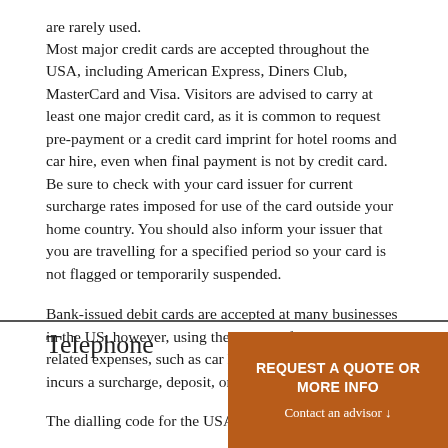are rarely used. Most major credit cards are accepted throughout the USA, including American Express, Diners Club, MasterCard and Visa. Visitors are advised to carry at least one major credit card, as it is common to request pre-payment or a credit card imprint for hotel rooms and car hire, even when final payment is not by credit card. Be sure to check with your card issuer for current surcharge rates imposed for use of the card outside your home country. You should also inform your issuer that you are travelling for a specified period so your card is not flagged or temporarily suspended.
Bank-issued debit cards are accepted at many businesses in the US; however, using them to pay for many travel-related expenses, such as car hire and hotel rooms, often incurs a surcharge, deposit, or a hold on your account.
Telephone
The dialling code for the USA is +1
REQUEST A QUOTE OR MORE INFO
Contact an advisor ↓